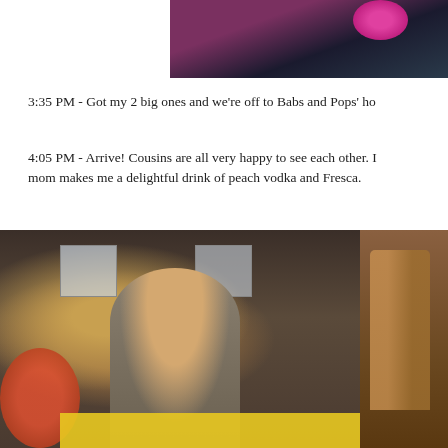[Figure (photo): Partial photo at top showing a dark interior with a pink flower/decoration visible, cropped at top of page]
3:35 PM - Got my 2 big ones and we're off to Babs and Pops' ho
4:05 PM - Arrive! Cousins are all very happy to see each other. I mom makes me a delightful drink of peach vodka and Fresca.
[Figure (photo): Woman with blonde hair and glasses sitting at a table with colorful flowers, a yellow tray, and toys around her in a living room setting]
[Figure (photo): Partial photo on right side showing a wooden chair with decorative carving]